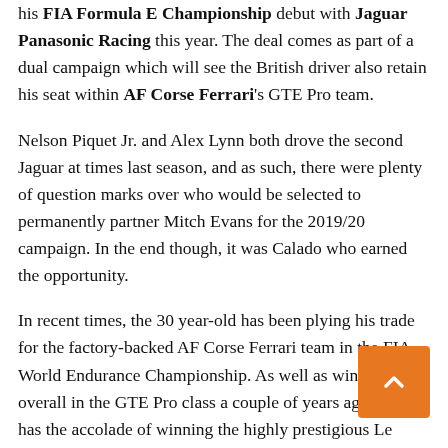his FIA Formula E Championship debut with Jaguar Panasonic Racing this year. The deal comes as part of a dual campaign which will see the British driver also retain his seat within AF Corse Ferrari's GTE Pro team.
Nelson Piquet Jr. and Alex Lynn both drove the second Jaguar at times last season, and as such, there were plenty of question marks over who would be selected to permanently partner Mitch Evans for the 2019/20 campaign. In the end though, it was Calado who earned the opportunity.
In recent times, the 30 year-old has been plying his trade for the factory-backed AF Corse Ferrari team in the FIA World Endurance Championship. As well as winning the overall in the GTE Pro class a couple of years ago, Calado has the accolade of winning the highly prestigious Le Mans 24 Hour race to his C.V, following success in the famous race with